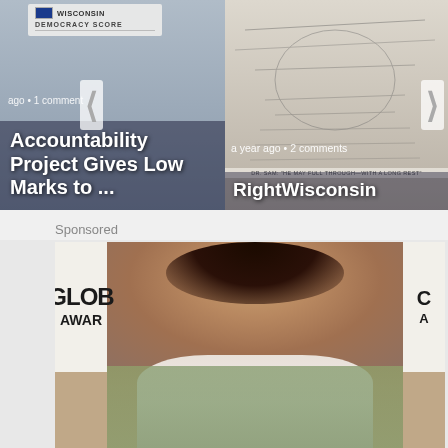[Figure (screenshot): Carousel card left: Accountability Project Gives Low Marks to ... article, 1 comment, with Democracy Score map overlay]
a year ago • 1 comment
Accountability Project Gives Low Marks to ...
[Figure (screenshot): Carousel card right: RightWisconsin article, 2 comments, with sketch/illustration background]
a year ago • 2 comments
RightWisconsin
Sponsored
[Figure (photo): Sponsored photo of a woman at the Golden Globe Awards, wearing a white dress, with GLOBE AWARDS signage behind her]